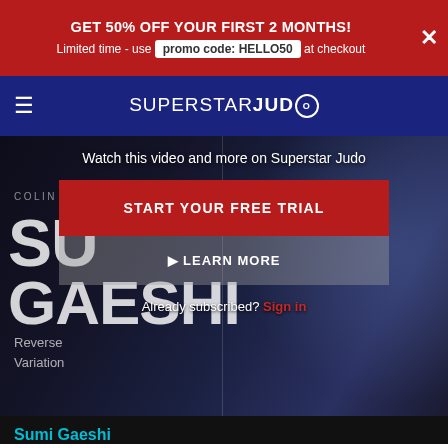GET 50% OFF YOUR FIRST 2 MONTHS! Limited time - use promo code: HELLO50 at checkout
SUPERSTAR JUDO
[Figure (screenshot): Video preview of a judo technique with two judoka on a mat, overlaid with subscription modal prompts]
Watch this video and more on Superstar Judo
COLIN OATES
SU GAESHI
Reverse Variation
START YOUR FREE TRIAL
▷ LEARN MORE
Already subscribed? Sign in
Sumi Gaeshi